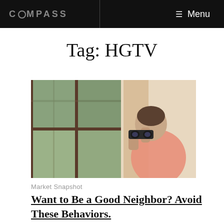COMPASS  Menu
Tag: HGTV
[Figure (photo): Person looking through binoculars through a window from inside a house, wearing a pink shirt, with green trees visible outside]
Market Snapshot
Want to Be a Good Neighbor? Avoid These Behaviors.